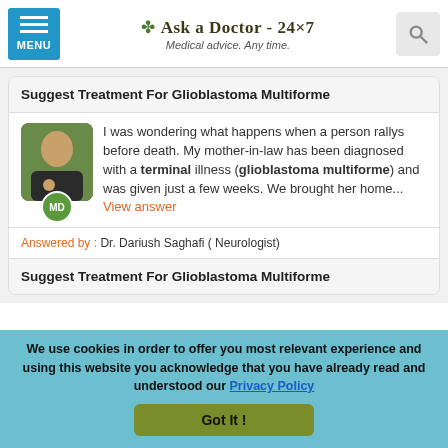Ask a Doctor - 24x7 | Medical advice. Any time.
Suggest Treatment For Glioblastoma Multiforme
I was wondering what happens when a person rallys before death. My mother-in-law has been diagnosed with a terminal illness (glioblastoma multiforme) and was given just a few weeks. We brought her home...  View answer
Answered by : Dr. Dariush Saghafi  ( Neurologist)
Suggest Treatment For Glioblastoma Multiforme
We use cookies in order to offer you most relevant experience and using this website you acknowledge that you have already read and understood our Privacy Policy
Got It !